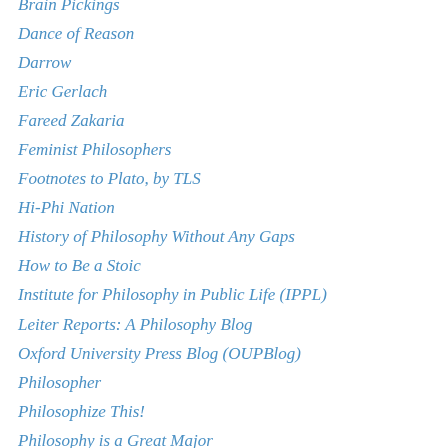Brain Pickings
Dance of Reason
Darrow
Eric Gerlach
Fareed Zakaria
Feminist Philosophers
Footnotes to Plato, by TLS
Hi-Phi Nation
History of Philosophy Without Any Gaps
How to Be a Stoic
Institute for Philosophy in Public Life (IPPL)
Leiter Reports: A Philosophy Blog
Oxford University Press Blog (OUPBlog)
Philosopher
Philosophize This!
Philosophy is a Great Major
Philosophy Now
Plato's Footnote
The Grand Tangent
The Public Sphere Salons